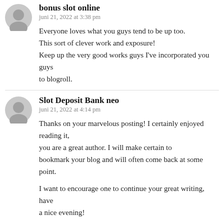bonus slot online
juni 21, 2022 at 3:38 pm
Everyone loves what you guys tend to be up too. This sort of clever work and exposure! Keep up the very good works guys I've incorporated you guys to blogroll.
Slot Deposit Bank neo
juni 21, 2022 at 4:14 pm
Thanks on your marvelous posting! I certainly enjoyed reading it, you are a great author. I will make certain to bookmark your blog and will often come back at some point.

I want to encourage one to continue your great writing, have a nice evening!